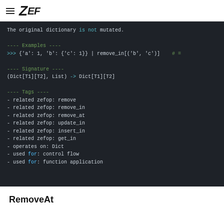ZEF
The original dictionary is not mutated.

---- Examples ----
>>> {'a': 1, 'b': {'c': 1}} | remove_in[('b', 'c')]    # =

---- Signature ----
(Dict[T1][T2], List) -> Dict[T1][T2]

---- Tags ----
- related zefop: remove
- related zefop: remove_in
- related zefop: remove_at
- related zefop: update_in
- related zefop: insert_in
- related zefop: get_in
- operates on: Dict
- used for: control flow
- used for: function application
RemoveAt